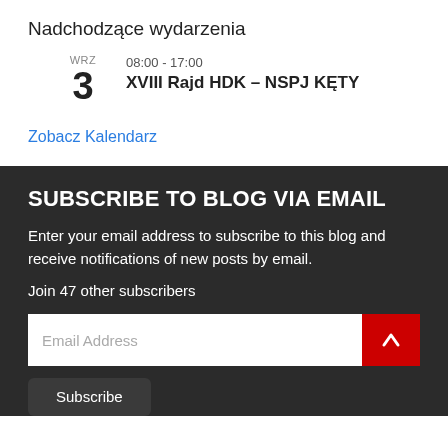Nadchodzące wydarzenia
WRZ   08:00 - 17:00
3   XVIII Rajd HDK – NSPJ KĘTY
Zobacz Kalendarz
SUBSCRIBE TO BLOG VIA EMAIL
Enter your email address to subscribe to this blog and receive notifications of new posts by email.
Join 47 other subscribers
Email Address
Subscribe